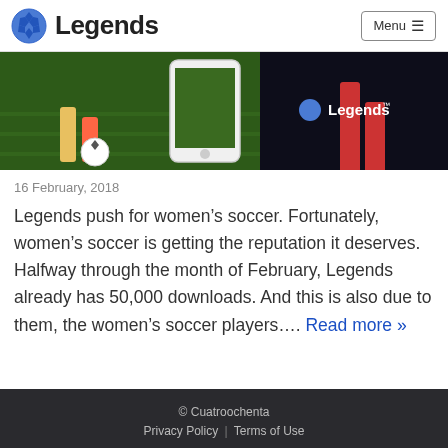Legends
[Figure (photo): Soccer scene with a smartphone showing the Legends app, grass field in background with players' legs visible, Legends logo overlay on right side]
16 February, 2018
Legends push for women's soccer. Fortunately, women's soccer is getting the reputation it deserves. Halfway through the month of February, Legends already has 50,000 downloads. And this is also due to them, the women's soccer players…. Read more »
© Cuatroochenta | Privacy Policy | Terms of Use